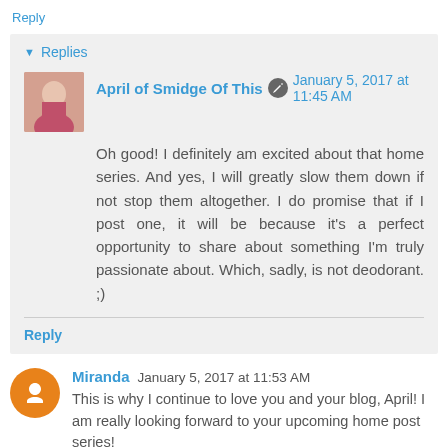Reply
▼ Replies
April of Smidge Of This  January 5, 2017 at 11:45 AM
Oh good! I definitely am excited about that home series. And yes, I will greatly slow them down if not stop them altogether. I do promise that if I post one, it will be because it's a perfect opportunity to share about something I'm truly passionate about. Which, sadly, is not deodorant. ;)
Reply
Miranda  January 5, 2017 at 11:53 AM
This is why I continue to love you and your blog, April! I am really looking forward to your upcoming home post series!
Reply